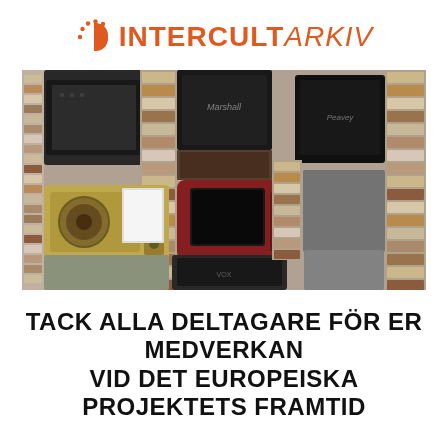INTERCULT ARKIV
[Figure (photo): A dense collage of vintage amplifiers, cathode-ray televisions, cassette tapes, and audio equipment stacked together filling the entire frame.]
TACK ALLA DELTAGARE FÖR ER MEDVERKAN VID DET EUROPEISKA PROJEKTETS FRAMTID